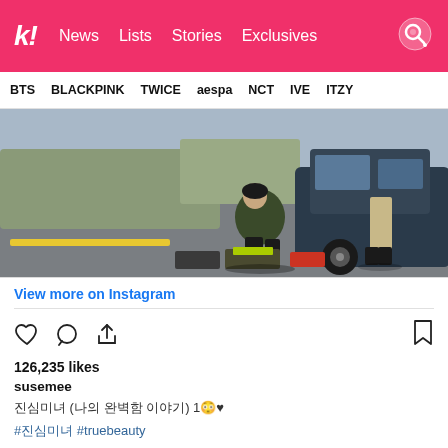k! News Lists Stories Exclusives
BTS BLACKPINK TWICE aespa NCT IVE ITZY
[Figure (photo): Two people beside a car on a road; one person crouching near the tire with tools/equipment on the ground, another person standing in khaki pants and black shoes.]
View more on Instagram
126,235 likes
susemee
진심미녀 (나의 완벽함 이야기) 1😳♥
#진심미녀 #truebeauty